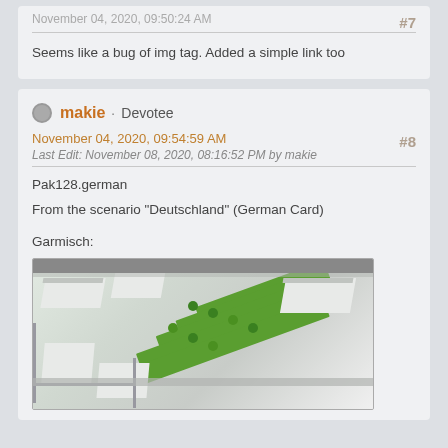Seems like a bug of img tag. Added a simple link too
makie · Devotee
November 04, 2020, 09:54:59 AM
Last Edit: November 08, 2020, 08:16:52 PM by makie
#8
Pak128.german
From the scenario "Deutschland" (German Card)
Garmisch:
[Figure (screenshot): Screenshot of a city-building game (Simutrans) showing an isometric view of a German city layout with green park areas, roads, and building tiles.]